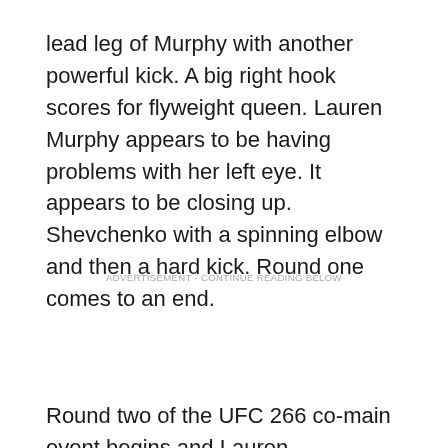lead leg of Murphy with another powerful kick. A big right hook scores for flyweight queen. Lauren Murphy appears to be having problems with her left eye. It appears to be closing up. Shevchenko with a spinning elbow and then a hard kick. Round one comes to an end.
ADVERTISEMENT - CONTINUE READING BELOW
Round two of the UFC 266 co-main event begins and Lauren